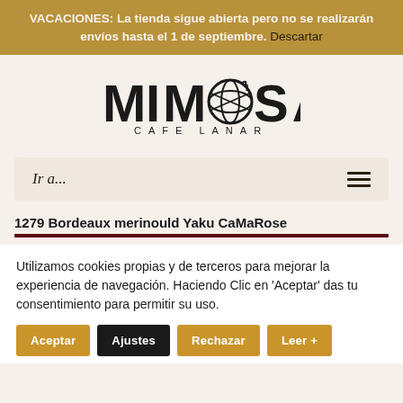VACACIONES: La tienda sigue abierta pero no se realizarán envíos hasta el 1 de septiembre. Descartar
[Figure (logo): Mimosa Cafe Lanar logo with a yarn ball forming the letter O]
Ir a...
1279 Bordeaux merinould Yaku CaMaRose
Utilizamos cookies propias y de terceros para mejorar la experiencia de navegación. Haciendo Clic en 'Aceptar' das tu consentimiento para permitir su uso.
Aceptar | Ajustes | Rechazar | Leer +